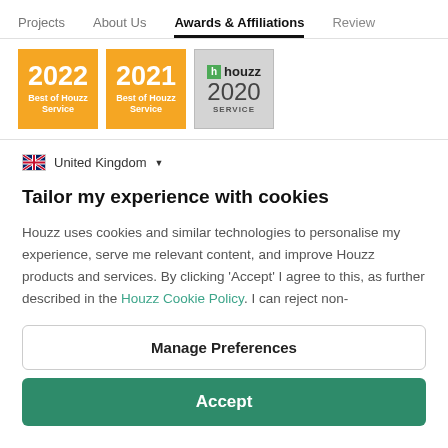Projects  About Us  Awards & Affiliations  Review
[Figure (logo): Three Houzz awards badges: 2022 Best of Houzz Service (gold), 2021 Best of Houzz Service (gold), Houzz 2020 SERVICE (gray)]
United Kingdom ▾
Tailor my experience with cookies
Houzz uses cookies and similar technologies to personalise my experience, serve me relevant content, and improve Houzz products and services. By clicking 'Accept' I agree to this, as further described in the Houzz Cookie Policy. I can reject non-
Manage Preferences
Accept